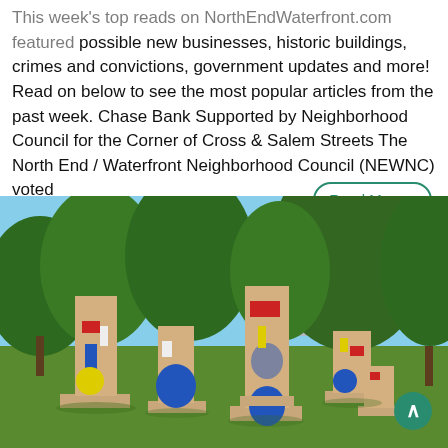This week's top reads on NorthEndWaterfront.com featured possible new businesses, historic buildings, crimes and convictions, government updates and more! Read on below to see the most popular articles from the past week. Chase Bank Supported by Neighborhood Council for the Corner of Cross & Salem Streets The North End / Waterfront Neighborhood Council (NEWNC) voted
[Figure (photo): Outdoor art installation in a park showing large tan/beige sculptural forms decorated with geometric shapes in red, blue, and yellow. Green trees and a city skyline are visible in the background on a sunny day.]